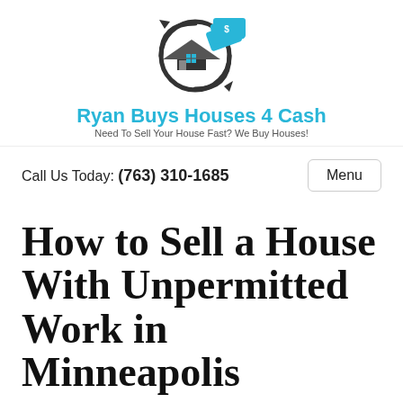[Figure (logo): Ryan Buys Houses 4 Cash logo: circular arrow icon with a house and cash/dollar bills in cyan and dark grey]
Ryan Buys Houses 4 Cash
Need To Sell Your House Fast? We Buy Houses!
Call Us Today: (763) 310-1685   Menu
How to Sell a House With Unpermitted Work in Minneapolis
July 22, 2021
By ryankindle